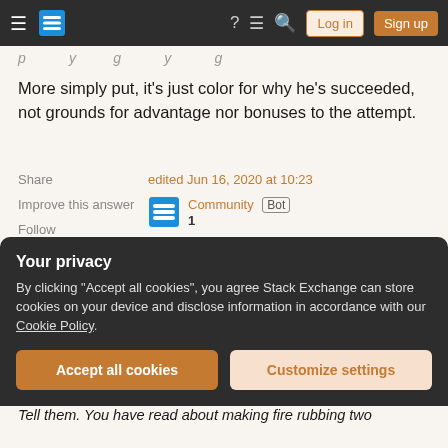Stack Exchange navigation bar with Log in and Sign up buttons
More simply put, it's just color for why he's succeeded, not grounds for advantage nor bonuses to the attempt.
Share  Improve this answer  Follow
edited Jun 16, 2020 at 10:23  Community Bot 1
answered Oct 30, 2016 at 7:30  aramis  70.1k  3  115  266
Add a comment
Your privacy
By clicking "Accept all cookies", you agree Stack Exchange can store cookies on your device and disclose information in accordance with our Cookie Policy.
Accept all cookies  Customize settings
Tell them. You have read about making fire rubbing two